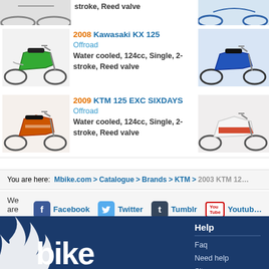[Figure (photo): Partial view of motorcycle at top, cropped]
stroke, Reed valve
[Figure (photo): Partial view of blue motorcycle at top right, cropped]
[Figure (photo): 2008 Kawasaki KX 125 green dirt bike]
2008 Kawasaki KX 125
Offroad
Water cooled, 124cc, Single, 2-stroke, Reed valve
[Figure (photo): Blue dirt bike on right side]
[Figure (photo): 2009 KTM 125 EXC SIXDAYS orange/white dirt bike]
2009 KTM 125 EXC SIXDAYS
Offroad
Water cooled, 124cc, Single, 2-stroke, Reed valve
[Figure (photo): White/red motorcycle on right side]
You are here: Mbike.com > Catalogue > Brands > KTM > 2003 KTM 12…
We are on: Facebook Twitter Tumblr Youtube
Help
Faq
Need help
Sitemap
Start here
[Figure (logo): Mbike.com logo partial at bottom]